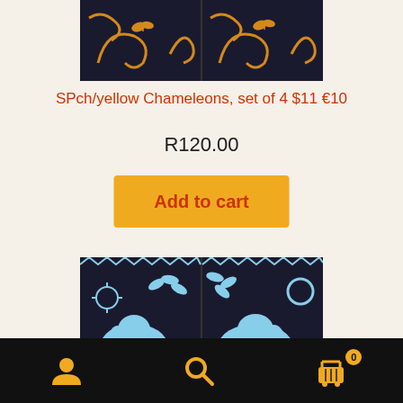[Figure (photo): Two dark artwork panels with yellow/gold swirl and butterfly motifs on dark background]
SPch/yellow Chameleons, set of 4 $11 €10
R120.00
Add to cart
[Figure (photo): Two dark artwork panels showing light blue elephants with decorative foliage and zigzag border patterns]
User icon | Search icon | Cart icon (0)